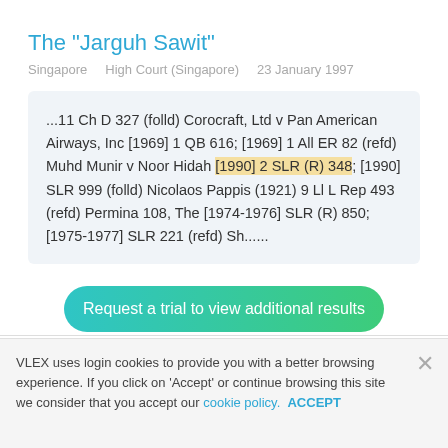The "Jarguh Sawit"
Singapore    High Court (Singapore)    23 January 1997
...11 Ch D 327 (folld) Corocraft, Ltd v Pan American Airways, Inc [1969] 1 QB 616; [1969] 1 All ER 82 (refd) Muhd Munir v Noor Hidah [1990] 2 SLR (R) 348; [1990] SLR 999 (folld) Nicolaos Pappis (1921) 9 Ll L Rep 493 (refd) Permina 108, The [1974-1976] SLR (R) 850; [1975-1977] SLR 221 (refd) Sh......
Request a trial to view additional results
VLEX uses login cookies to provide you with a better browsing experience. If you click on 'Accept' or continue browsing this site we consider that you accept our cookie policy. ACCEPT